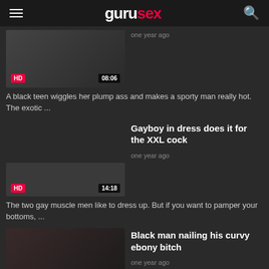gurusex
[Figure (screenshot): Video thumbnail showing HD badge and 08:06 timestamp]
one year ago
A black teen wiggles her plump ass and makes a sporty man really hot. The exotic ...
Gayboy in dress does it for the XXL cock
one year ago
[Figure (other): Blank video thumbnail with HD badge and 14:18 timestamp]
The two gay muscle men like to dress up. But if you want to pamper your bottoms, ...
[Figure (screenshot): Video thumbnail showing HD badge, 15:37 timestamp, and SDRAW watermark]
Black man nailing his curvy ebony bitch
one year ago
Hot chocolate ebony is happy when the fit black lover sits down next to her on...